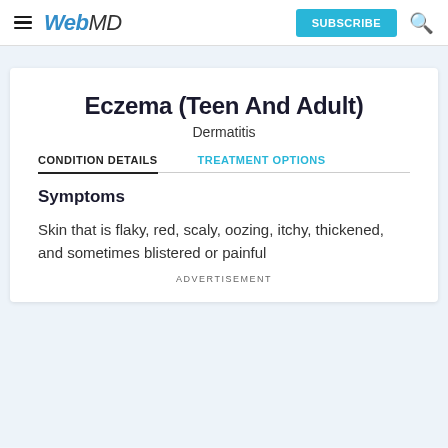WebMD | SUBSCRIBE
Eczema (Teen And Adult)
Dermatitis
CONDITION DETAILS | TREATMENT OPTIONS
Symptoms
Skin that is flaky, red, scaly, oozing, itchy, thickened, and sometimes blistered or painful
ADVERTISEMENT